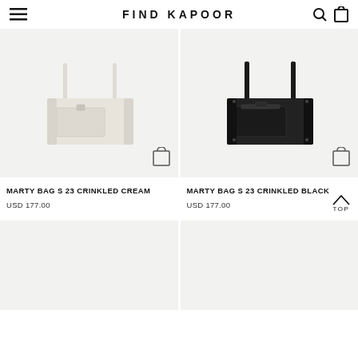FIND KAPOOR
[Figure (photo): Cream/off-white structured shoulder bag on light grey background – MARTY BAG S 23 CRINKLED CREAM]
[Figure (photo): Black structured shoulder bag on light grey background – MARTY BAG S 23 CRINKLED BLACK]
MARTY BAG S 23 CRINKLED CREAM
USD 177.00
MARTY BAG S 23 CRINKLED BLACK
USD 177.00
[Figure (photo): Partially visible product image – bottom left, light background]
[Figure (photo): Partially visible product image – bottom right, light background]